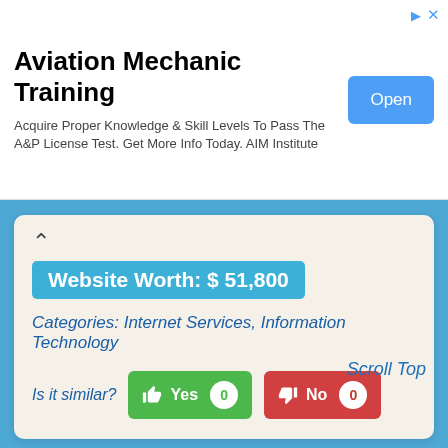[Figure (screenshot): Advertisement banner for Aviation Mechanic Training by AIM Institute with an Open button]
Aviation Mechanic Training
Acquire Proper Knowledge & Skill Levels To Pass The A&P License Test. Get More Info Today. AIM Institute
Website Worth: $ 51,800
Categories: Internet Services, Information Technology
Is it similar? Yes 0  No 0
Scroll Top